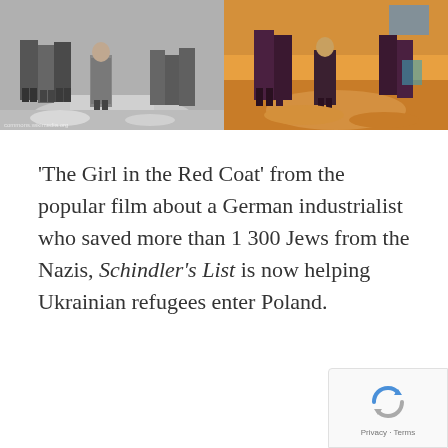[Figure (photo): Two side-by-side images: left is a black-and-white photograph of a young girl in a red coat standing among a group of adults on a dirt path; right is an orange/amber and purple stylized colorized version of a similar scene with figures walking.]
'The Girl in the Red Coat' from the popular film about a German industrialist who saved more than 1 300 Jews from the Nazis, Schindler's List is now helping Ukrainian refugees enter Poland.